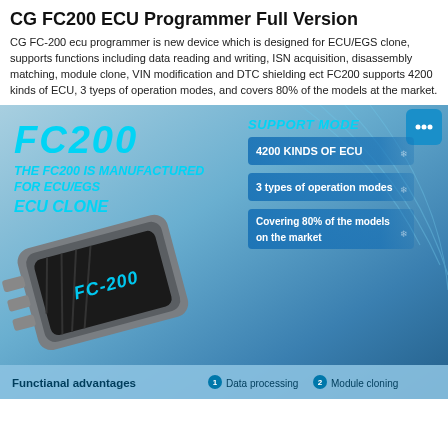CG FC200 ECU Programmer Full Version
CG FC-200 ecu programmer is new device which is designed for ECU/EGS clone, supports functions including data reading and writing, ISN acquisition, disassembly matching, module clone, VIN modification and DTC shielding ect FC200 supports 4200 kinds of ECU, 3 tyeps of operation modes, and covers 80% of the models at the market.
[Figure (infographic): FC200 ECU Programmer product infographic showing the device with cyan/blue branding text 'FC200', subtitle 'THE FC200 IS MANUFACTURED FOR ECU/EGS ECU CLONE', a photo of the FC-200 device, and a support mode panel listing: 4200 KINDS OF ECU, 3 types of operation modes, Covering 80% of the models on the market. Bottom bar shows Functional advantages with items: Data processing, Module cloning.]